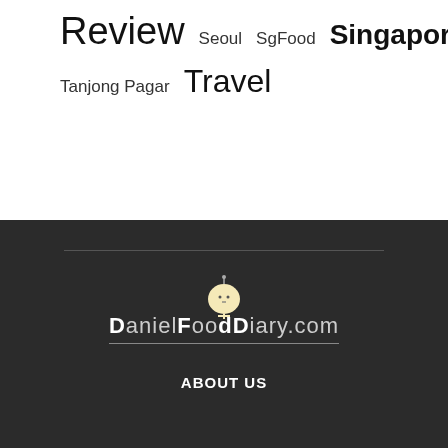Review   Seoul   SgFood   Singapore   Taipei   Tanjong Pagar   Travel
[Figure (logo): DanielFoodDiary.com logo with a round mascot character above the text DANIELFOODDIARY.COM]
ABOUT US